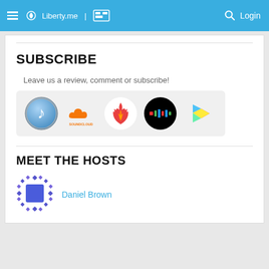Liberty.me | Login
SUBSCRIBE
Leave us a review, comment or subscribe!
[Figure (illustration): Five podcast/streaming platform icons: iTunes, SoundCloud, Spreaker (fire), Stitcher, Google Play]
MEET THE HOSTS
[Figure (illustration): Daniel Brown avatar - blue square with diamond pattern border]
Daniel Brown